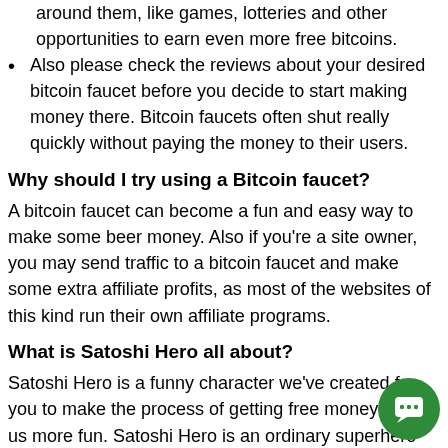around them, like games, lotteries and other opportunities to earn even more free bitcoins.
Also please check the reviews about your desired bitcoin faucet before you decide to start making money there. Bitcoin faucets often shut really quickly without paying the money to their users.
Why should I try using a Bitcoin faucet?
A bitcoin faucet can become a fun and easy way to make some beer money. Also if you're a site owner, you may send traffic to a bitcoin faucet and make some extra affiliate profits, as most of the websites of this kind run their own affiliate programs.
What is Satoshi Hero all about?
Satoshi Hero is a funny character we've created for you to make the process of getting free money from us more fun. Satoshi Hero is an ordinary superhero who really loves Bitcoins. Why do I have to sign up with an email in Satoshi Hero? We only accept new accounts with valid email